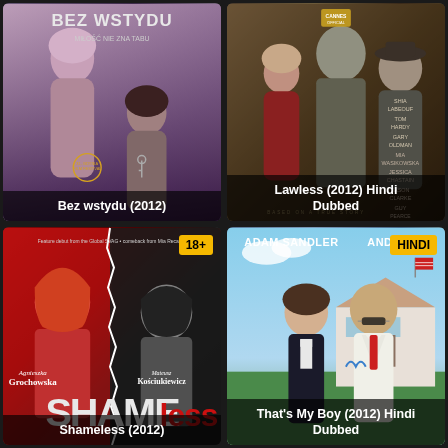[Figure (photo): Movie poster for Bez wstydu (2012) - Polish film showing two people in intimate pose, purple tones, text BEZ WSTYDU MILOSC NIE ZNA TABU]
Bez wstydu (2012)
[Figure (photo): Movie poster for Lawless (2012) Hindi Dubbed - dark crime drama with cast listed including Shia LaBeouf, Tom Hardy, Gary Oldman, Mia Wasikowska, Jessica Chastain, Jason Clarke, Guy Pearce]
Lawless (2012) Hindi Dubbed
[Figure (photo): Movie poster for Shameless (2012) - Polish film with 18+ badge, red and black tones, featuring Agnieszka Grochowska and Mateusz Kosciukiewicz, SHAME text prominent]
Shameless (2012)
[Figure (photo): Movie poster for That's My Boy (2012) Hindi Dubbed - comedy film with Adam Sandler and Andy Samberg standing in front of mansion]
That's My Boy (2012) Hindi Dubbed